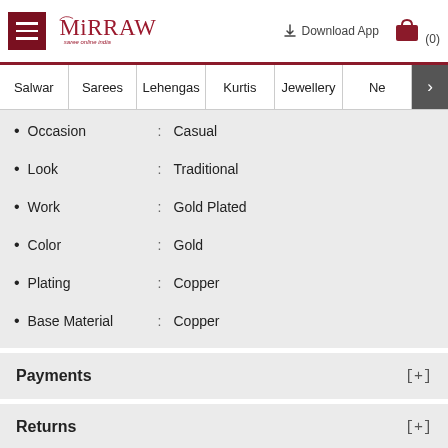Mirraw - saree online india | Download App | (0)
Salwar | Sarees | Lehengas | Kurtis | Jewellery | Ne >
Occasion : Casual
Look : Traditional
Work : Gold Plated
Color : Gold
Plating : Copper
Base Material : Copper
Payments [+]
Returns [+]
More Like These